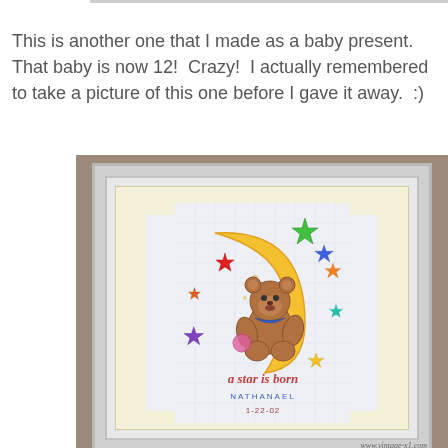This is another one that I made as a baby present.  That baby is now 12!  Crazy!  I actually remembered to take a picture of this one before I gave it away.  :)
[Figure (photo): A framed cross-stitch piece showing a teddy bear sitting on a crescent moon surrounded by colorful stars. The text 'a star is born' appears at the bottom along with 'NATHANAEL' and '1-22-03'. The piece is in a white frame with cream matting, photographed on a textured brown surface.]